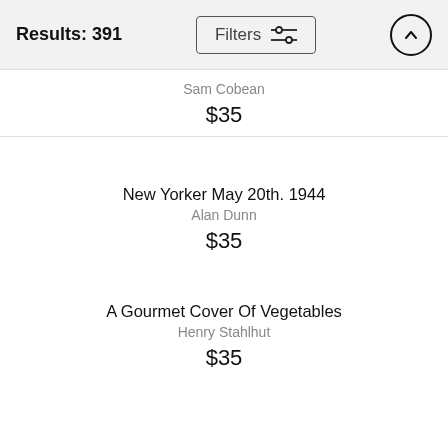Results: 391
Sam Cobean
$35
New Yorker May 20th. 1944
Alan Dunn
$35
A Gourmet Cover Of Vegetables
Henry Stahlhut
$35